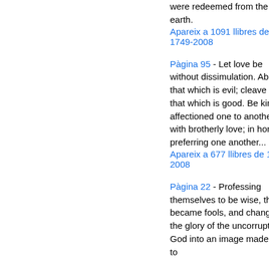were redeemed from the earth. Apareix a 1091 llibres de 1749-2008
Pàgina 95 - Let love be without dissimulation. Abhor that which is evil; cleave to that which is good. Be kindly affectioned one to another with brotherly love; in honour preferring one another... Apareix a 677 llibres de 1748-2008
Pàgina 22 - Professing themselves to be wise, they became fools, and changed the glory of the uncorruptible God into an image made like to